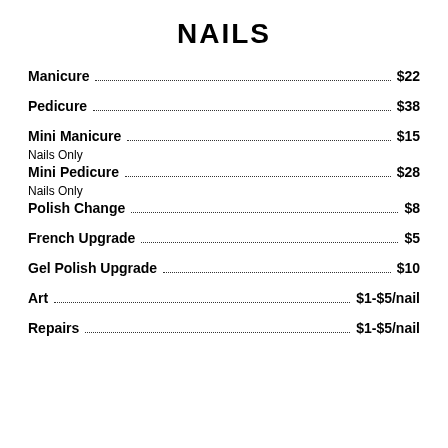NAILS
Manicure ... $22
Pedicure ... $38
Mini Manicure ... $15
Nails Only
Mini Pedicure ... $28
Nails Only
Polish Change ... $8
French Upgrade ... $5
Gel Polish Upgrade ... $10
Art ... $1-$5/nail
Repairs ... $1-$5/nail